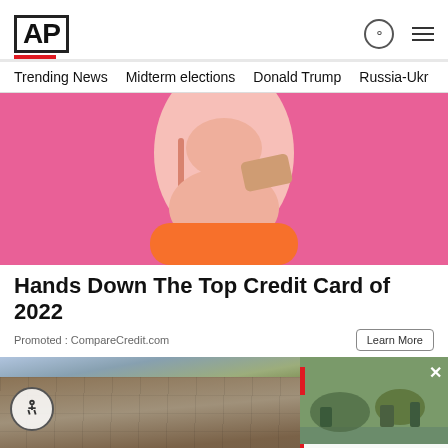AP
Trending News   Midterm elections   Donald Trump   Russia-Ukr
[Figure (photo): Woman holding a gold credit card against pink background, wearing orange top]
Hands Down The Top Credit Card of 2022
Promoted : CompareCredit.com
[Figure (photo): Roof with shingles, worker inspecting with tool; smaller overlay video thumbnail of soldiers on road]
Car blast kills daughter of Russian known as 'Putin's ...